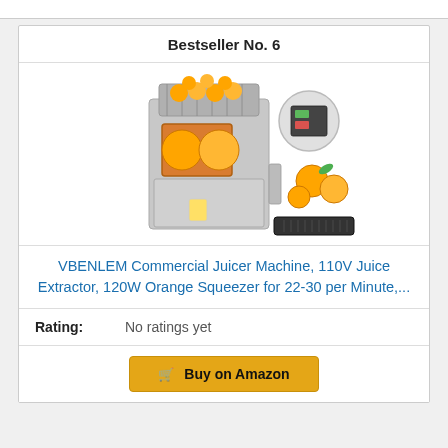Bestseller No. 6
[Figure (photo): Commercial orange juicer machine (VBENLEM) shown with product images including the machine, control panel close-up, oranges, and a removable tray.]
VBENLEM Commercial Juicer Machine, 110V Juice Extractor, 120W Orange Squeezer for 22-30 per Minute,...
Rating: No ratings yet
Buy on Amazon